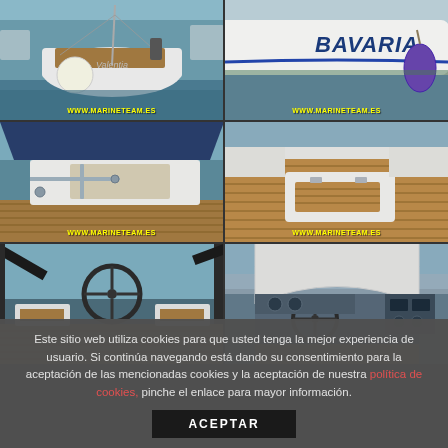[Figure (photo): Grid of 6 photos showing a Bavaria sailboat at marina. Top-left: stern view of white sailboat named 'Valentia' with fender, watermark WWW.MARINETEAM.ES. Top-right: side hull of Bavaria yacht with blue lettering 'BAVARIA' and purple fender, watermark WWW.MARINETEAM.ES. Middle-left: deck/cockpit view with rigging and blue canopy, watermark. Middle-right: teak deck stern area close-up, watermark. Bottom-left: helm/steering wheel view with teak deck. Bottom-right: cockpit interior view with instruments.]
Este sitio web utiliza cookies para que usted tenga la mejor experiencia de usuario. Si continúa navegando está dando su consentimiento para la aceptación de las mencionadas cookies y la aceptación de nuestra política de cookies, pinche el enlace para mayor información.
ACEPTAR